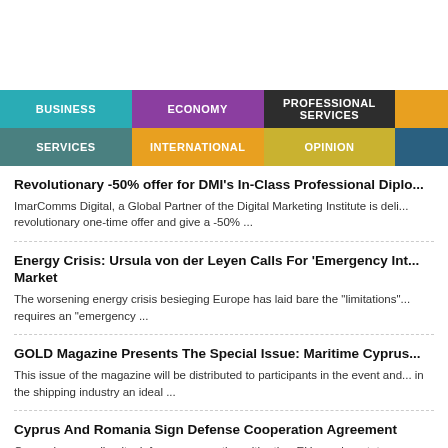Navigation menu with categories: BUSINESS, ECONOMY, PROFESSIONAL SERVICES, SERVICES, INTERNATIONAL, OPINION
Revolutionary -50% offer for DMI's In-Class Professional Diplo...
ImarComms Digital, a Global Partner of the Digital Marketing Institute is deli... revolutionary one-time offer and give a -50% ...
Energy Crisis: Ursula von der Leyen Calls For 'Emergency Int... Market
The worsening energy crisis besieging Europe has laid bare the "limitations"... requires an "emergency ...
GOLD Magazine Presents The Special Issue: Maritime Cyprus...
This issue of the magazine will be distributed to participants in the event and... in the shipping industry an ideal ...
Cyprus And Romania Sign Defense Cooperation Agreement
Cyprus is expanding its defense cooperation with other EU member states...